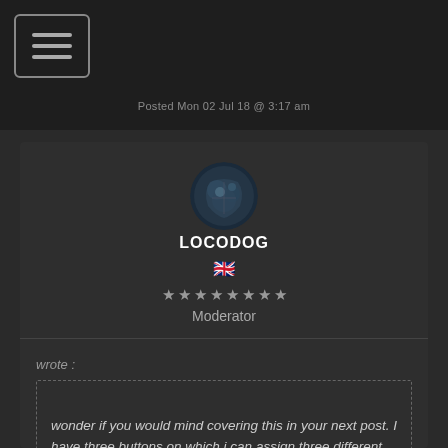[Figure (screenshot): Navigation menu hamburger button icon with three horizontal bars inside a rounded rectangle border]
Posted Mon 02 Jul 18 @ 3:17 am
[Figure (photo): Circular user avatar with dark blue/grey tones showing a figure]
LOCODOG
🇬🇧
★★★★★★★★ Moderator
wrote :
wonder if you would mind covering this in your next post. I have three buttons on which i can assign three different effects, but i would like the knobs to control the parameters of which ever effect is active at the time.